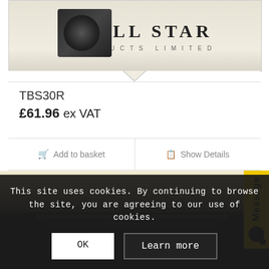[Figure (photo): All Star Products Limited logo on a beige/cream background with a decorative star symbol]
TBS30R
£61.96 ex VAT
Add to basket
Show Details
[Figure (photo): Close-up photo of a black fan heater or similar appliance with visible grille/fins]
Message
This site uses cookies. By continuing to browse the site, you are agreeing to our use of cookies.
OK
Learn more